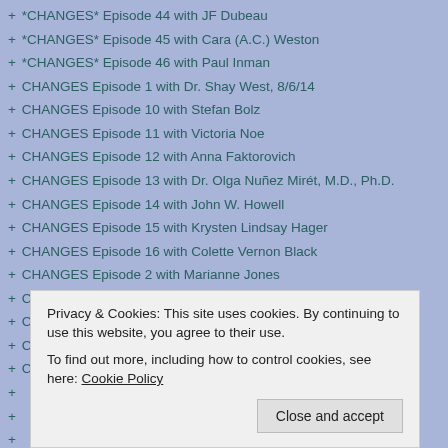+ *CHANGES* Episode 44 with JF Dubeau
+ *CHANGES* Episode 45 with Cara (A.C.) Weston
+ *CHANGES* Episode 46 with Paul Inman
+ CHANGES Episode 1 with Dr. Shay West, 8/6/14
+ CHANGES Episode 10 with Stefan Bolz
+ CHANGES Episode 11 with Victoria Noe
+ CHANGES Episode 12 with Anna Faktorovich
+ CHANGES Episode 13 with Dr. Olga Nuñez Mirét, M.D., Ph.D.
+ CHANGES Episode 14 with John W. Howell
+ CHANGES Episode 15 with Krysten Lindsay Hager
+ CHANGES Episode 16 with Colette Vernon Black
+ CHANGES Episode 2 with Marianne Jones
+ CHANGES Episode 3 with Connie Dunn
+ CHANGES Episode 4 with Janice Ross
+ CHANGES Episode 5 with Tonya Moore
+ CHANGES Episode 6 with Charlee Allden
+ (partially hidden)
+ (partially hidden)
+ (partially hidden)
+ (partially hidden)
+ (partially hidden)
* *CHANGES* Episode 58 with ...  Dr. Re...  7/29/16
Privacy & Cookies: This site uses cookies. By continuing to use this website, you agree to their use.
To find out more, including how to control cookies, see here: Cookie Policy
Close and accept